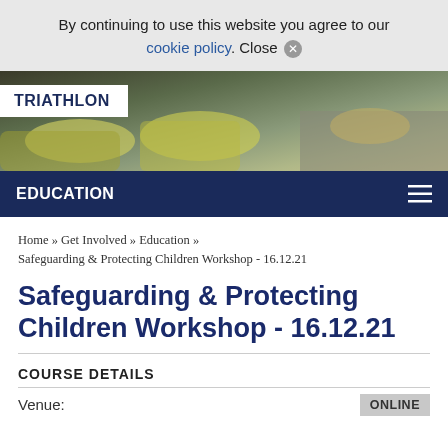By continuing to use this website you agree to our cookie policy. Close ✕
[Figure (photo): Hero image showing triathlon running shoes on the ground, with a white label overlay reading TRIATHLON]
EDUCATION
Home » Get Involved » Education » Safeguarding & Protecting Children Workshop - 16.12.21
Safeguarding & Protecting Children Workshop - 16.12.21
COURSE DETAILS
Venue:
ONLINE